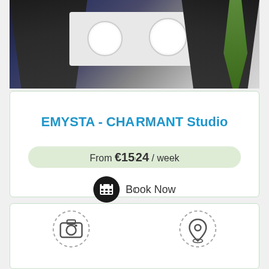[Figure (photo): Dining area with dark chairs and white table set with plates]
EMYSTA - CHARMANT Studio
From €1524 / week
Book Now
[Figure (other): Two circular dashed icons: camera icon on the left, location pin icon on the right]